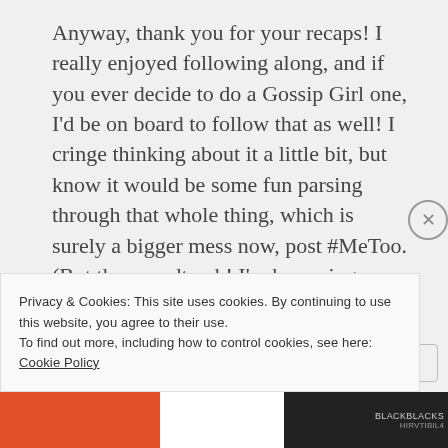Anyway, thank you for your recaps! I really enjoyed following along, and if you ever decide to do a Gossip Girl one, I'd be on board to follow that as well! I cringe thinking about it a little bit, but know it would be some fun parsing through that whole thing, which is surely a bigger mess now, post #MeToo. (But the soundtrack! I'm humming Young Folks as I write this…)
Privacy & Cookies: This site uses cookies. By continuing to use this website, you agree to their use. To find out more, including how to control cookies, see here: Cookie Policy
Close and accept